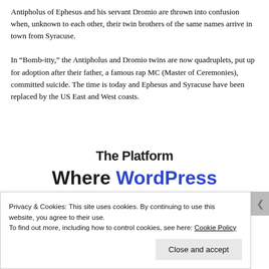Antipholus of Ephesus and his servant Dromio are thrown into confusion when, unknown to each other, their twin brothers of the same names arrive in town from Syracuse.
In “Bomb-itty,” the Antipholus and Dromio twins are now quadruplets, put up for adoption after their father, a famous rap MC (Master of Ceremonies), committed suicide. The time is today and Ephesus and Syracuse have been replaced by the US East and West coasts.
[Figure (infographic): Advertisement for a web hosting platform. Partially visible top text cut off, then 'Where WordPress Works Best' in bold dark and blue text, with a blue 'SEE PRICING' button below.]
Privacy & Cookies: This site uses cookies. By continuing to use this website, you agree to their use.
To find out more, including how to control cookies, see here: Cookie Policy
Close and accept